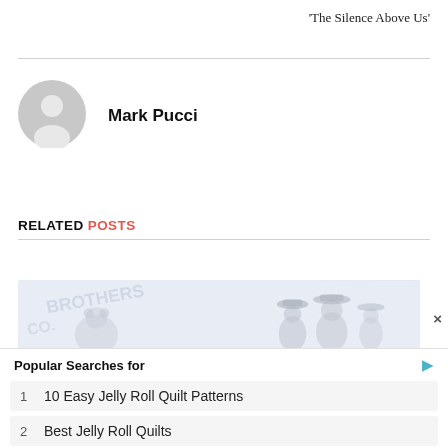'The Silence Above Us'
[Figure (illustration): Gray circular avatar icon with silhouette of a person]
Mark Pucci
RELATED POSTS
[Figure (illustration): Band promotional image with faint text and figures wearing hats on a light blue background]
×
Popular Searches for
1  10 Easy Jelly Roll Quilt Patterns
2  Best Jelly Roll Quilts
Yahoo! Search | Sponsored